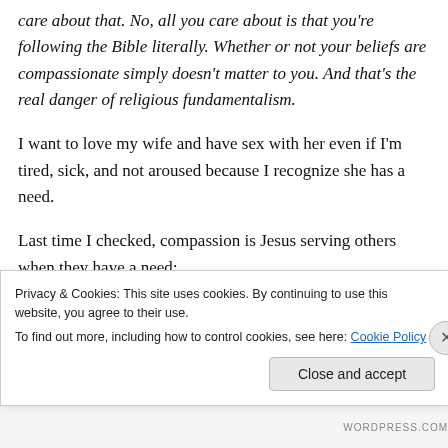care about that. No, all you care about is that you're following the Bible literally. Whether or not your beliefs are compassionate simply doesn't matter to you. And that's the real danger of religious fundamentalism.
I want to love my wife and have sex with her even if I'm tired, sick, and not aroused because I recognize she has a need.
Last time I checked, compassion is Jesus serving others when they have a need:
Privacy & Cookies: This site uses cookies. By continuing to use this website, you agree to their use.
To find out more, including how to control cookies, see here: Cookie Policy
Close and accept